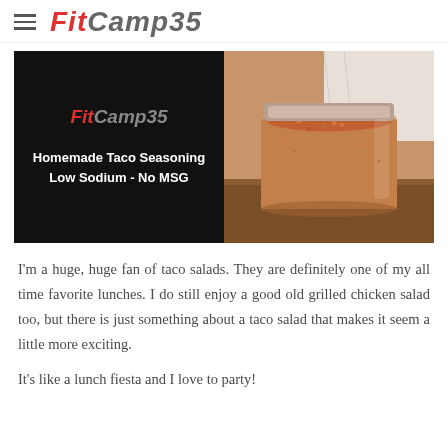FitCamp35
[Figure (photo): Split image: left half shows FitCamp35 logo on black background with text 'Homemade Taco Seasoning Low Sodium - No MSG'; right half shows a glass jar filled with reddish-orange spice blend on a wooden surface.]
I'm a huge, huge fan of taco salads. They are definitely one of my all time favorite lunches. I do still enjoy a good old grilled chicken salad too, but there is just something about a taco salad that makes it seem a little more exciting.
It's like a lunch fiesta and I love to party!